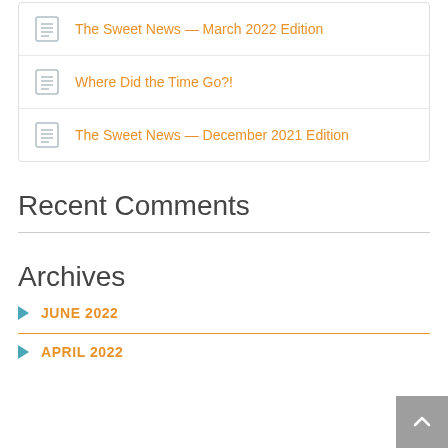The Sweet News — March 2022 Edition
Where Did the Time Go?!
The Sweet News — December 2021 Edition
Recent Comments
Archives
JUNE 2022
APRIL 2022